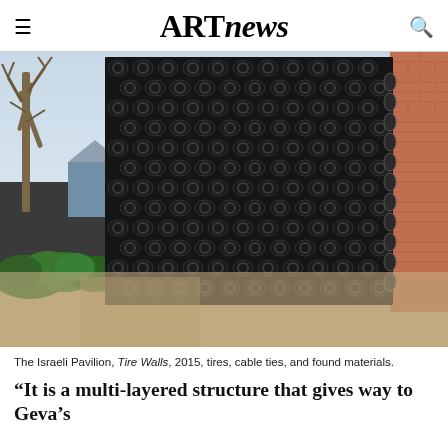ARTnews
[Figure (photo): Photograph of the Israeli Pavilion featuring a large wall constructed entirely of stacked black tires (Tire Walls, 2015) adjacent to a brick building, with hedges and trees in the background, gravel path in the foreground.]
The Israeli Pavilion, Tire Walls, 2015, tires, cable ties, and found materials.
“It is a multi-layered structure that gives way to Geva’s